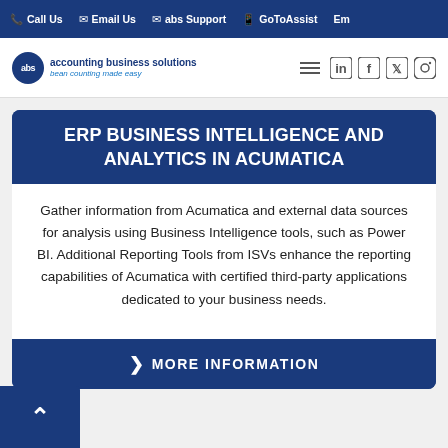Call Us  Email Us  abs Support  GoToAssist  Em
[Figure (logo): ABS Accounting Business Solutions logo with circular blue badge and tagline 'bean counting made easy']
ERP BUSINESS INTELLIGENCE AND ANALYTICS IN ACUMATICA
Gather information from Acumatica and external data sources for analysis using Business Intelligence tools, such as Power BI. Additional Reporting Tools from ISVs enhance the reporting capabilities of Acumatica with certified third-party applications dedicated to your business needs.
MORE INFORMATION